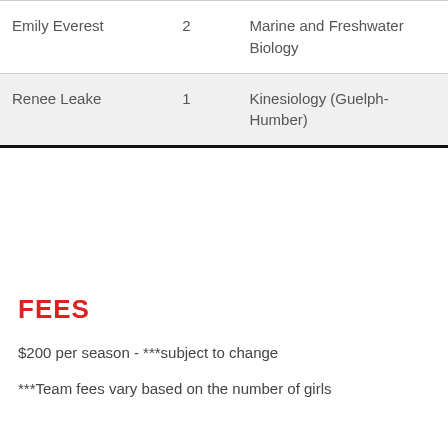| Name | Number | Program |
| --- | --- | --- |
| Emily Everest | 2 | Marine and Freshwater Biology |
| Renee Leake | 1 | Kinesiology (Guelph-Humber) |
FEES
$200 per season - ***subject to change
***Team fees vary based on the number of girls